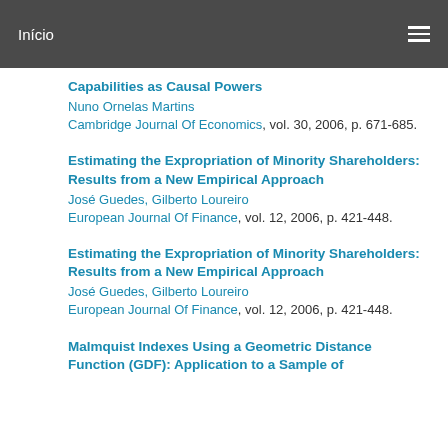Início
Capabilities as Causal Powers
Nuno Ornelas Martins
Cambridge Journal Of Economics, vol. 30, 2006, p. 671-685.
Estimating the Expropriation of Minority Shareholders: Results from a New Empirical Approach
José Guedes, Gilberto Loureiro
European Journal Of Finance, vol. 12, 2006, p. 421-448.
Estimating the Expropriation of Minority Shareholders: Results from a New Empirical Approach
José Guedes, Gilberto Loureiro
European Journal Of Finance, vol. 12, 2006, p. 421-448.
Malmquist Indexes Using a Geometric Distance Function (GDF): Application to a Sample of